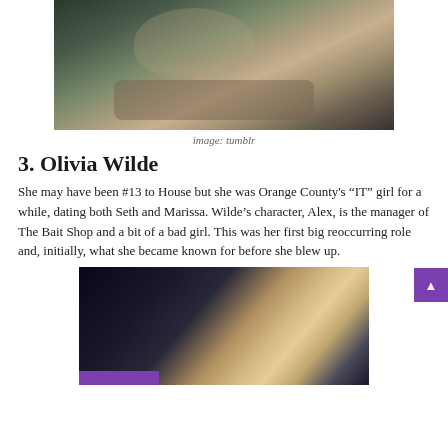[Figure (photo): A young woman with glasses resting her chin/arms on a desk, looking at camera, in a classroom-like setting]
image: tumblr
3. Olivia Wilde
She may have been #13 to House but she was Orange County's “IT” girl for a while, dating both Seth and Marissa. Wilde’s character, Alex, is the manager of The Bait Shop and a bit of a bad girl. This was her first big reoccurring role and, initially, what she became known for before she blew up.
[Figure (photo): A blonde woman facing a dark-haired person (seen from behind), in a dimly lit scene]